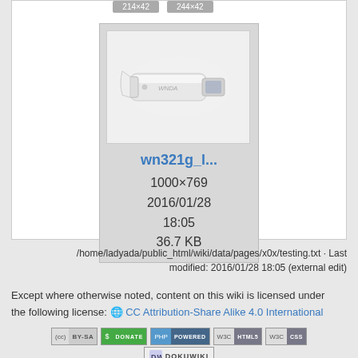[Figure (screenshot): Thumbnail card showing a USB drive image labeled wn321g_l... with metadata 1000x769, 2016/01/28 18:05, 36.7 KB]
/home/ladyada/public_html/wiki/data/pages/x0x/testing.txt · Last modified: 2016/01/28 18:05 (external edit)
Except where otherwise noted, content on this wiki is licensed under the following license: CC Attribution-Share Alike 4.0 International
[Figure (screenshot): Row of badge icons: CC BY-SA, Donate, PHP Powered, WSC HTML5, WSC CSS, DokuWiki]